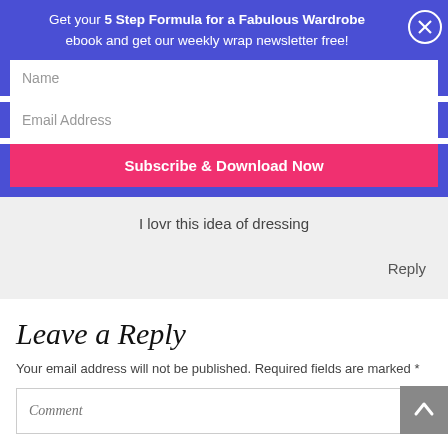Get your 5 Step Formula for a Fabulous Wardrobe ebook and get our weekly wrap newsletter free!
Name
Email Address
Subscribe & Download Now
I lovr this idea of dressing
Reply
Leave a Reply
Your email address will not be published. Required fields are marked *
Comment